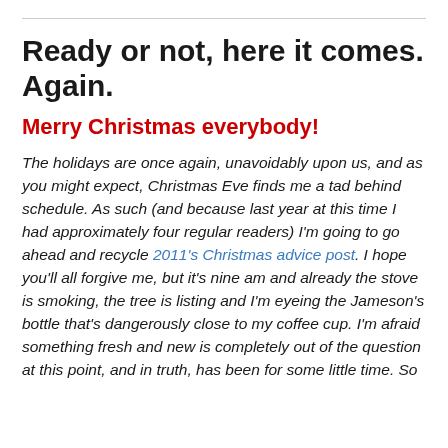Ready or not, here it comes. Again.
Merry Christmas everybody!
The holidays are once again, unavoidably upon us, and as you might expect, Christmas Eve finds me a tad behind schedule. As such (and because last year at this time I had approximately four regular readers) I'm going to go ahead and recycle 2011's Christmas advice post. I hope you'll all forgive me, but it's nine am and already the stove is smoking, the tree is listing and I'm eyeing the Jameson's bottle that's dangerously close to my coffee cup. I'm afraid something fresh and new is completely out of the question at this point, and in truth, has been for some little time. So